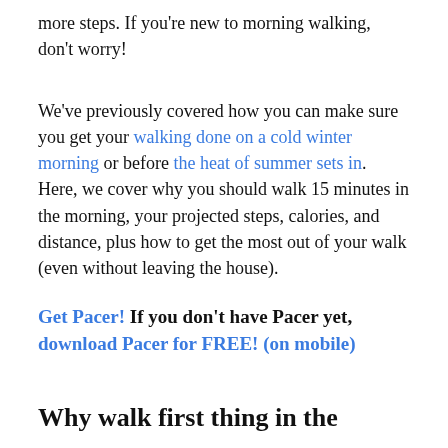more steps. If you're new to morning walking, don't worry!
We've previously covered how you can make sure you get your walking done on a cold winter morning or before the heat of summer sets in. Here, we cover why you should walk 15 minutes in the morning, your projected steps, calories, and distance, plus how to get the most out of your walk (even without leaving the house).
Get Pacer! If you don't have Pacer yet, download Pacer for FREE! (on mobile)
Why walk first thing in the